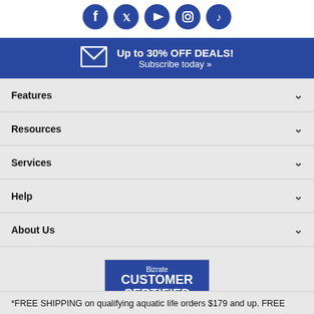[Figure (illustration): Row of five circular blue social media icons: Facebook, Twitter, YouTube, Instagram, TikTok]
Up to 30% OFF DEALS! Subscribe today »
Features
Resources
Services
Help
About Us
[Figure (logo): Bizrate Customer Certified badge dated 08/21/22]
*FREE SHIPPING on qualifying aquatic life orders $179 and up. FREE